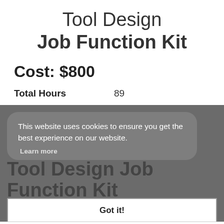Tool Design Job Function Kit
Cost: $800
Total Hours    89
This website uses cookies to ensure you get the best experience on our website.
Learn more
Tool Design Job Function Kit
Got it!